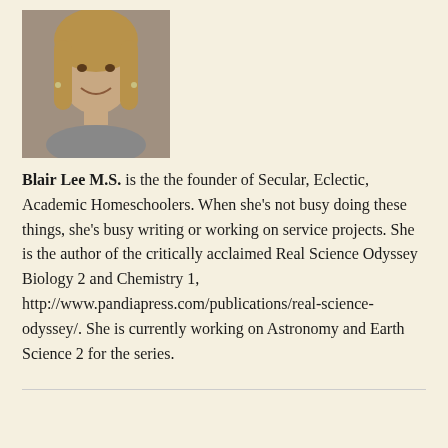[Figure (photo): Headshot photo of Blair Lee M.S., a woman with long blonde hair, smiling, wearing earrings]
Blair Lee M.S. is the the founder of Secular, Eclectic, Academic Homeschoolers. When she's not busy doing these things, she's busy writing or working on service projects. She is the author of the critically acclaimed Real Science Odyssey Biology 2 and Chemistry 1, http://www.pandiapress.com/publications/real-science-odyssey/. She is currently working on Astronomy and Earth Science 2 for the series.
No additional text visible at bottom